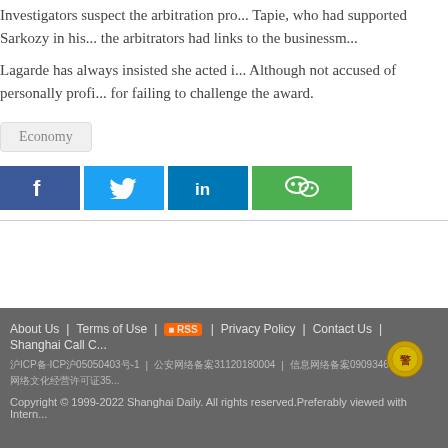Investigators suspect the arbitration pro... Tapie, who had supported Sarkozy in his... the arbitrators had links to the businessm...
Lagarde has always insisted she acted i... Although not accused of personally profi... for failing to challenge the award.
Economy
[Figure (infographic): Social share buttons: Facebook, Twitter, LinkedIn, WeChat]
About Us | Terms of Use | RSS | Privacy Policy | Contact Us | Shanghai Call C... 泵ICP备·ICP԰50504030号-1 | 公安网30朱31120180004 | 信息网络网0909346 | ... Copyright © 1999-2022 Shanghai Daily. All rights reserved.Preferably viewed with Intern...